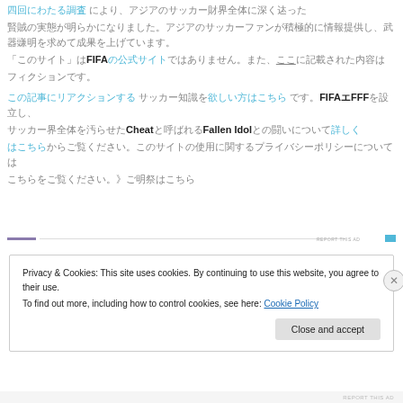[CJK text with blue links at top] FIFA [blue link] [underlined CJK] [CJK text paragraph]
[CJK blue link paragraph] FIFA FFF [CJK] Cheat [CJK] Fallen Idol [CJK blue link] [CJK]
[Figure (other): Ad bar with purple left segment, horizontal divider line, blue flag icon, and REPORT THIS AD text]
Privacy & Cookies: This site uses cookies. By continuing to use this website, you agree to their use.
To find out more, including how to control cookies, see here: Cookie Policy
[Close and accept button]